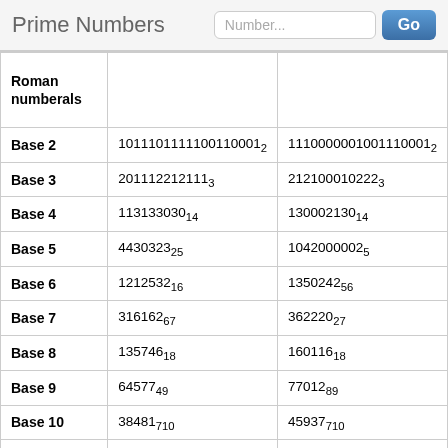Prime Numbers
|  |  |  |
| --- | --- | --- |
| Roman numberals |  |  |
| Base 2 | 1011101111100110001₂ | 1110000001001110001₂ |
| Base 3 | 201112212111₃ | 21210001022₃ |
| Base 4 | 113133030₁₄ | 130002130₁₄ |
| Base 5 | 4430323₂₅ | 10420000₂₅ |
| Base 6 | 1212532₁₆ | 1350242₅₆ |
| Base 7 | 316162₆₇ | 362220₂₇ |
| Base 8 | 135746₁₈ | 160116₁₈ |
| Base 9 | 64577₄₉ | 77012₈₉ |
| Base 10 | 38481₇₁₀ | 45937₇₁₀ |
| Base 11 | 84818₄ | 88415₈ |